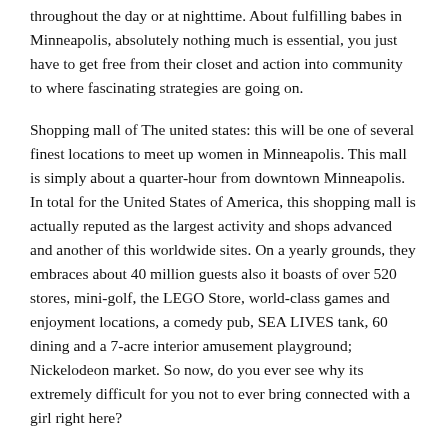throughout the day or at nighttime. About fulfilling babes in Minneapolis, absolutely nothing much is essential, you just have to get free from their closet and action into community to where fascinating strategies are going on.
Shopping mall of The united states: this will be one of several finest locations to meet up women in Minneapolis. This mall is simply about a quarter-hour from downtown Minneapolis. In total for the United States of America, this shopping mall is actually reputed as the largest activity and shops advanced and another of this worldwide sites. On a yearly grounds, they embraces about 40 million guests also it boasts of over 520 stores, mini-golf, the LEGO Store, world-class games and enjoyment locations, a comedy pub, SEA LIVES tank, 60 dining and a 7-acre interior amusement playground; Nickelodeon market. So now, do you ever see why its extremely difficult for you not to ever bring connected with a girl right here?
University of Minnesota campus: This place is how you're getting meet up with and attach with college or university girls in Minneapolis. Only see cafes or areas being for